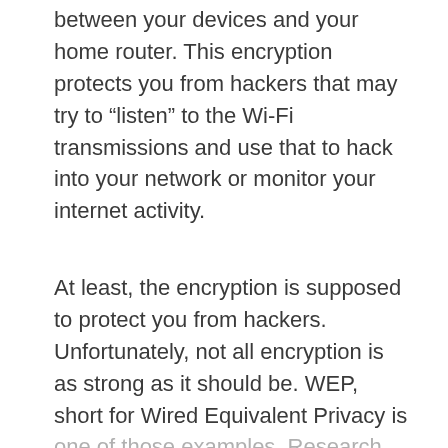between your devices and your home router. This encryption protects you from hackers that may try to “listen” to the Wi-Fi transmissions and use that to hack into your network or monitor your internet activity.
At least, the encryption is supposed to protect you from hackers. Unfortunately, not all encryption is as strong as it should be. WEP, short for Wired Equivalent Privacy is one of those examples. Research has been shown and tools are publicly available that can hack into any Wi-Fi